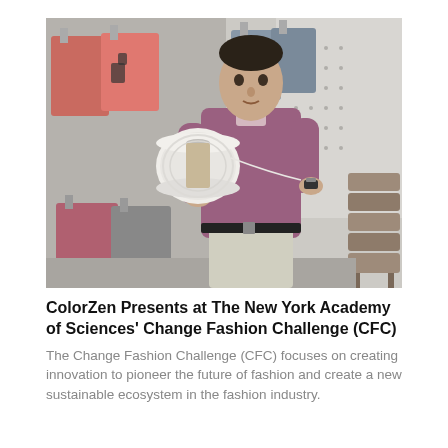[Figure (photo): A man in a purple/mauve button-up shirt stands in a clothing store or showroom, holding a large spool of white yarn/thread. He is examining a single thread pulled from the spool. Behind him are multiple shirts hung on the wall, including salmon/pink colored shirts and grey/blue shirts. To the right are stacked brown/tan stools. The background wall has a white brick or tile pattern.]
ColorZen Presents at The New York Academy of Sciences' Change Fashion Challenge (CFC)
The Change Fashion Challenge (CFC) focuses on creating innovation to pioneer the future of fashion and create a new sustainable ecosystem in the fashion industry.